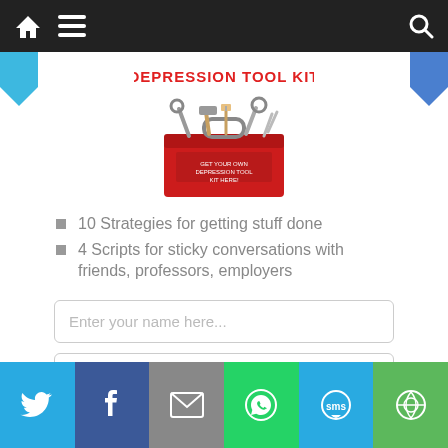Navigation bar with home, menu, and search icons
[Figure (illustration): Depression Tool Kit image showing a red toolbox with tools and text 'DEPRESSION TOOL KIT' in red above it]
10 Strategies for getting stuff done
4 Scripts for sticky conversations with friends, professors, employers
Enter your name here...
Enter your email address here...
Social sharing bar: Twitter, Facebook, Email, WhatsApp, SMS, Share